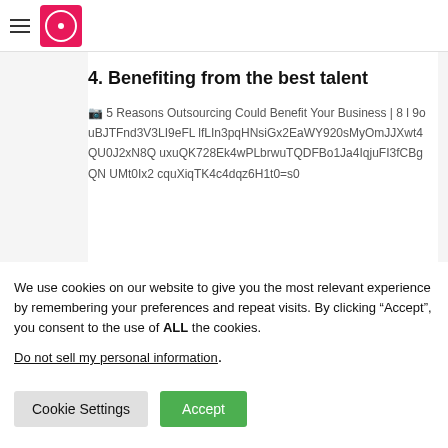[hamburger menu] [logo]
4. Benefiting from the best talent
[Figure (other): Broken image placeholder with alt text and encoded URL string: '5 Reasons Outsourcing Could Benefit Your Business | 8 l 9ouBJTFnd3V3LI9eFL lfLIn3pqHNsiGx2EaWY920sMyOmJJXwt4QU0J2xN8Q uxuQK728Ek4wPLbrwuTQDFBo1Ja4IqjuFI3fCBgQN UMt0Ix2 cquXiqTK4c4dqz6H1t0=s0']
We use cookies on our website to give you the most relevant experience by remembering your preferences and repeat visits. By clicking “Accept”, you consent to the use of ALL the cookies.
Do not sell my personal information.
Cookie Settings   Accept